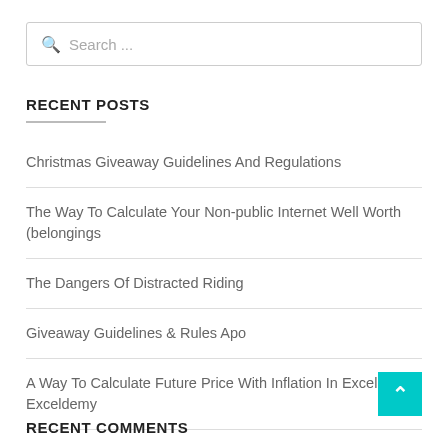[Figure (other): Search input box with magnifying glass icon and placeholder text 'Search ...']
RECENT POSTS
Christmas Giveaway Guidelines And Regulations
The Way To Calculate Your Non-public Internet Well Worth (belongings
The Dangers Of Distracted Riding
Giveaway Guidelines & Rules Apo
A Way To Calculate Future Price With Inflation In Excel – Exceldemy
RECENT COMMENTS